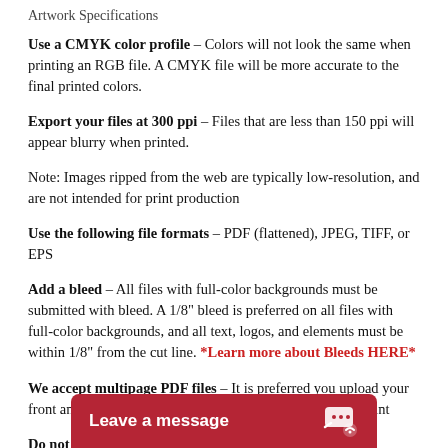Artwork Specifications
Use a CMYK color profile – Colors will not look the same when printing an RGB file. A CMYK file will be more accurate to the final printed colors.
Export your files at 300 ppi – Files that are less than 150 ppi will appear blurry when printed.
Note: Images ripped from the web are typically low-resolution, and are not intended for print production
Use the following file formats – PDF (flattened), JPEG, TIFF, or EPS
Add a bleed – All files with full-color backgrounds must be submitted with bleed. A 1/8" bleed is preferred on all files with full-color backgrounds, and all text, logos, and elements must be within 1/8" from the cut line. *Learn more about Bleeds HERE*
We accept multipage PDF files – It is preferred you upload your front and back file separately if possible for double sided print
Do not include trim c
Leave a message